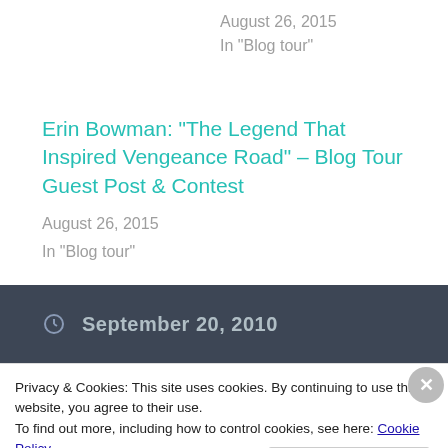August 26, 2015
In "Blog tour"
Erin Bowman: "The Legend That Inspired Vengeance Road" – Blog Tour Guest Post & Contest
August 26, 2015
In "Blog tour"
September 20, 2010
Privacy & Cookies: This site uses cookies. By continuing to use this website, you agree to their use.
To find out more, including how to control cookies, see here: Cookie Policy
Close and accept